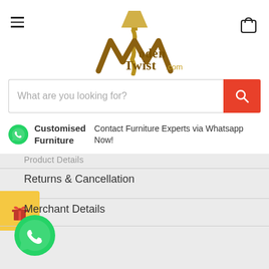[Figure (logo): WoodenTwist.com logo with lamp and W icon]
What are you looking for?
Customised Furniture  Contact Furniture Experts via Whatsapp Now!
Product Details
Returns & Cancellation
Merchant Details
[Figure (illustration): Gift/promo icon widget in yellow box]
[Figure (illustration): WhatsApp floating button icon]